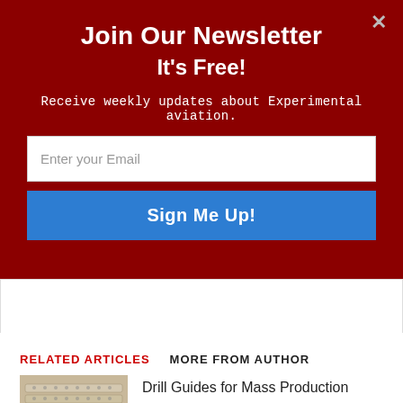Join Our Newsletter
It's Free!
Receive weekly updates about Experimental aviation.
Enter your Email
Sign Me Up!
RELATED ARTICLES    MORE FROM AUTHOR
[Figure (photo): Photo of drill guides for mass production - rows of metal drill guide strips]
Drill Guides for Mass Production